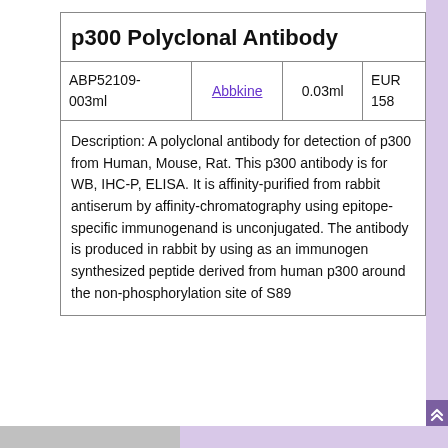| Product ID | Supplier | Volume | Price |
| --- | --- | --- | --- |
| ABP52109-003ml | Abbkine | 0.03ml | EUR 158 |
Description: A polyclonal antibody for detection of p300 from Human, Mouse, Rat. This p300 antibody is for WB, IHC-P, ELISA. It is affinity-purified from rabbit antiserum by affinity-chromatography using epitope-specific immunogenand is unconjugated. The antibody is produced in rabbit by using as an immunogen synthesized peptide derived from human p300 around the non-phosphorylation site of S89